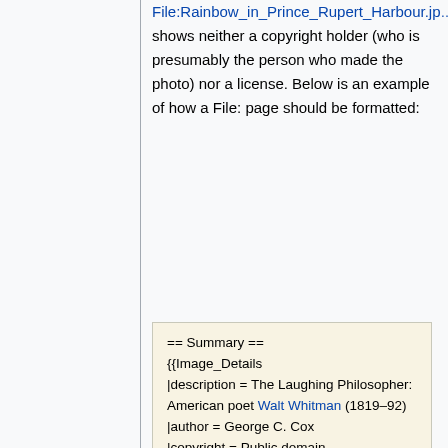File:Rainbow_in_Prince_Rupert_Harbour.jp… shows neither a copyright holder (who is presumably the person who made the photo) nor a license. Below is an example of how a File: page should be formatted:
== Summary ==
{{Image_Details
|description = The Laughing Philosopher: American poet Walt Whitman (1819–92)
|author = George C. Cox
|copyright = Public domain
|source =
http://commons.wikimedia.org/w/index.php?title=File:Walt_Whitman_edit_2.jpg&oldid=35604620&uselang=nl
|date-created = 1887